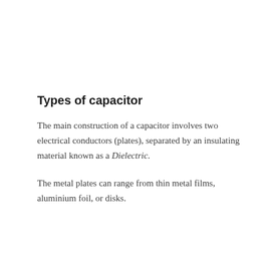Types of capacitor
The main construction of a capacitor involves two electrical conductors (plates), separated by an insulating material known as a Dielectric.
The metal plates can range from thin metal films, aluminium foil, or disks.